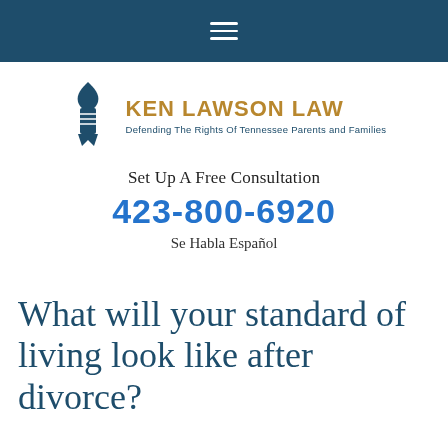Navigation bar with hamburger menu
[Figure (logo): Ken Lawson Law logo with stylized torch/quill icon and text 'KEN LAWSON LAW — Defending The Rights Of Tennessee Parents and Families']
Set Up A Free Consultation
423-800-6920
Se Habla Español
What will your standard of living look like after divorce?